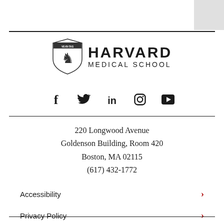[Figure (logo): Harvard Medical School logo with shield crest and text HARVARD MEDICAL SCHOOL]
[Figure (infographic): Social media icons: Facebook, Twitter, LinkedIn, Instagram, YouTube]
220 Longwood Avenue
Goldenson Building, Room 420
Boston, MA 02115
(617) 432-1772
Accessibility >
Privacy Policy >